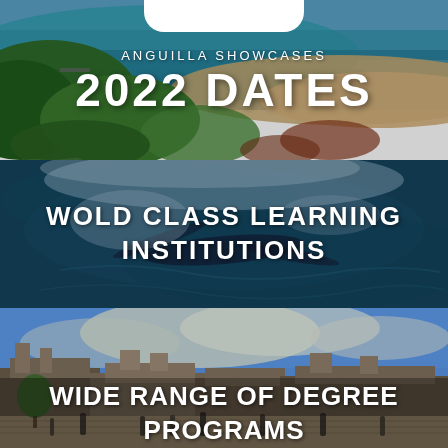[Figure (photo): Aerial view of a tropical coastal scene with turquoise water, sandy beach, and lush green vegetation. White text overlay reads 'ANGUILLA SHOWCASES' and '2022 DATES'.]
ANGUILLA SHOWCASES 2022 DATES
[Figure (photo): Underwater or water-surface photo of a swimmer creating splashes, with a teal/dark water background. White text overlay reads 'WOLD CLASS LEARNING INSTITUTIONS'.]
WOLD CLASS LEARNING INSTITUTIONS
[Figure (photo): University campus scene showing historic stone buildings, a wide plaza with students walking, dramatic cloudy sky. White text overlay reads 'WIDE RANGE OF DEGREE PROGRAMS'.]
WIDE RANGE OF DEGREE PROGRAMS